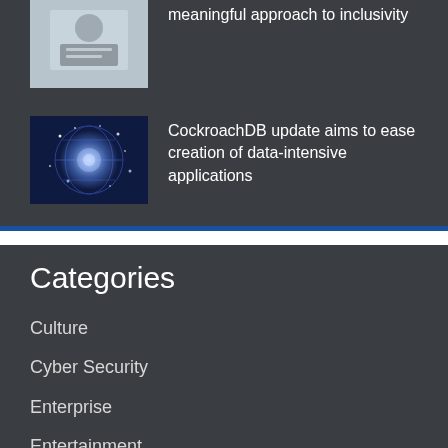meaningful approach to inclusivity
[Figure (photo): Person using a tablet device]
[Figure (photo): Abstract digital network globe with glowing lights]
CockroachDB update aims to ease creation of data-intensive applications
Categories
Culture
Cyber Security
Enterprise
Entertainment
Gadgets
Gaming